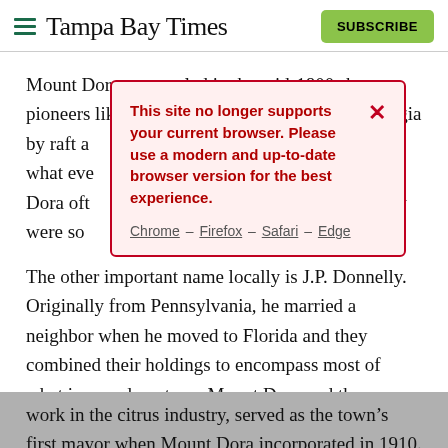Tampa Bay Times | SUBSCRIBE
Mount Dora was settled in the mid-1800s by pioneers like William [... Georgia by raft a[...] acres in what eve[...] eath, Dora oft[...] hat they were so[...] r.
[Figure (screenshot): Browser compatibility warning modal: 'This site no longer supports your current browser. Please use a modern and up-to-date browser version for the best experience.' with links to Chrome, Firefox, Safari, Edge and a red X close button.]
The other important name locally is J.P. Donnelly. Originally from Pennsylvania, he married a neighbor when he moved to Florida and they combined their holdings to encompass most of what is now downtown Mount Dora and the lakefront. Donnelly, also called the “father of the tangerine” for his work in the citrus industry, served as the town’s first mayor when Mount Dora incorporated in 1910. He and his wife